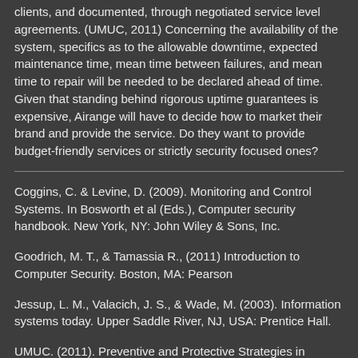clients, and documented, through negotiated service level agreements. (UMUC, 2011) Concerning the availability of the system, specifics as to the allowable downtime, expected maintenance time, mean time between failures, and mean time to repair will be needed to be declared ahead of time. Given that standing behind rigorous uptime guarantees is expensive, Airange will have to decide how to market their brand and provide the service. Do they want to provide budget-friendly services or strictly security focused ones?
Coggins, C. & Levine, D. (2009). Monitoring and Control Systems. In Bosworth et al (Eds.), Computer security handbook. New York, NY: John Wiley & Sons, Inc.
Goodrich, M. T., & Tamassia R., (2011) Introduction to Computer Security. Boston, MA: Pearson
Jessup, L. M., Valacich, J. S., & Wade, M. (2003). Information systems today. Upper Saddle River, NJ, USA: Prentice Hall.
UMUC. (2011). Preventive and Protective Strategies in